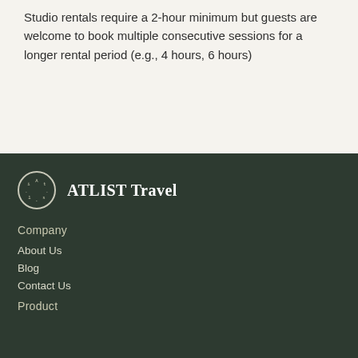Studio rentals require a 2-hour minimum but guests are welcome to book multiple consecutive sessions for a longer rental period (e.g., 4 hours, 6 hours)
[Figure (logo): ATLIST Travel circular logo with letters arranged in a circle, next to the text 'ATLIST Travel']
Company
About Us
Blog
Contact Us
Product